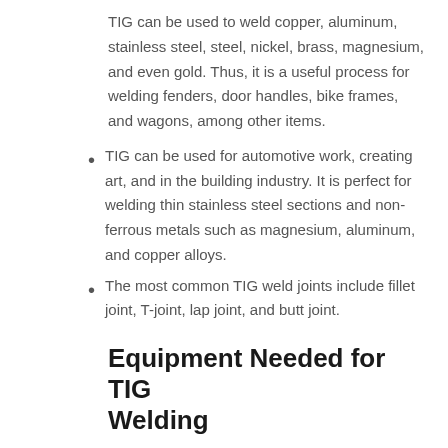TIG can be used to weld copper, aluminum, stainless steel, steel, nickel, brass, magnesium, and even gold. Thus, it is a useful process for welding fenders, door handles, bike frames, and wagons, among other items.
TIG can be used for automotive work, creating art, and in the building industry. It is perfect for welding thin stainless steel sections and non-ferrous metals such as magnesium, aluminum, and copper alloys.
The most common TIG weld joints include fillet joint, T-joint, lap joint, and butt joint.
Equipment Needed for TIG Welding
The equipment required includes a non-consumable tungsten electrode, filler metals, shielding gas